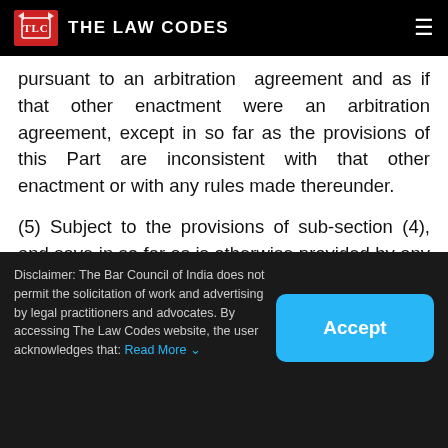THE LAW CODES
pursuant to an arbitration  agreement and as if that other enactment were an arbitration agreement, except in so far as the provisions of this Part are inconsistent with that other enactment or with any rules made thereunder.
(5) Subject to the provisions of sub-section (4), and save in so far as is otherwise provided by any law  for the time being in force or in any
Disclaimer: The Bar Council of India does not permit the solicitation of work and advertising by legal practitioners and advocates. By accessing The Law Codes website, the user acknowledges that: Read More